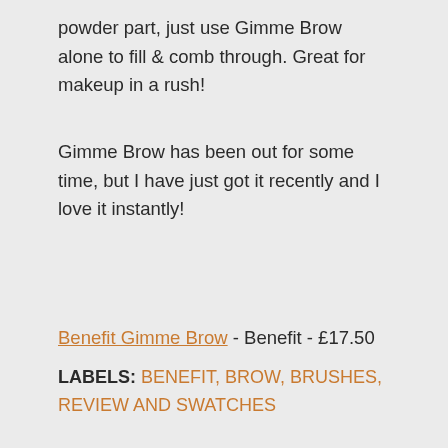powder part, just use Gimme Brow alone to fill & comb through. Great for makeup in a rush!
Gimme Brow has been out for some time, but I have just got it recently and I love it instantly!
Benefit Gimme Brow - Benefit - £17.50
LABELS: BENEFIT, BROW, BRUSHES, REVIEW AND SWATCHES